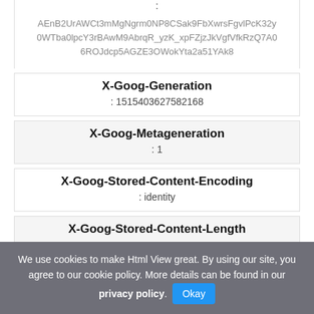AEnB2UrAWCt3mMgNgrm0NP8CSak9FbXwrsFgvlPcK32y0WTba0lpcY3rBAwM9AbrqR_yzK_xpFZjzJkVgfVfkRzQ7A06ROJdcp5AGZE3OWokYta2a51YAk8
X-Goog-Generation
: 1515403627582168
X-Goog-Metageneration
: 1
X-Goog-Stored-Content-Encoding
: identity
X-Goog-Stored-Content-Length
We use cookies to make Html View great. By using our site, you agree to our cookie policy. More details can be found in our privacy policy. Okay